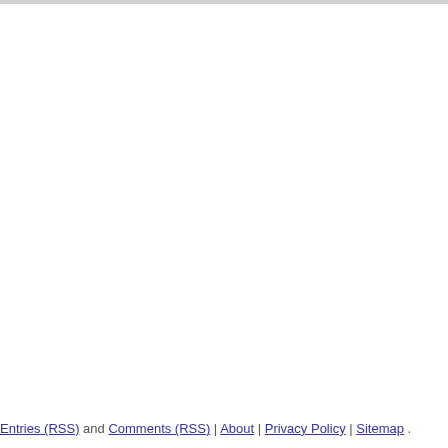Entries (RSS) and Comments (RSS) | About | Privacy Policy | Sitemap .